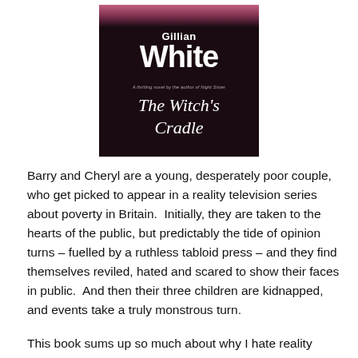[Figure (illustration): Book cover of 'The Witch's Cradle' by Gillian White. Dark maroon/black background with author name 'Gillian White' in large white bold text, and title 'The Witch's Cradle' in italic white script below. A subtitle line reads 'A thrilling novel by the author of Night Sister'.]
Barry and Cheryl are a young, desperately poor couple, who get picked to appear in a reality television series about poverty in Britain.  Initially, they are taken to the hearts of the public, but predictably the tide of opinion turns – fuelled by a ruthless tabloid press – and they find themselves reviled, hated and scared to show their faces in public.  And then their three children are kidnapped, and events take a truly monstrous turn.
This book sums up so much about why I hate reality